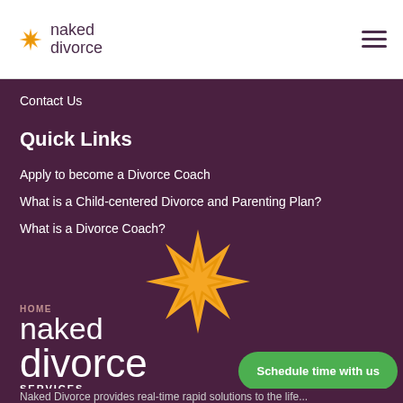naked divorce
Contact Us
Quick Links
Apply to become a Divorce Coach
What is a Child-centered Divorce and Parenting Plan?
What is a Divorce Coach?
[Figure (logo): Naked Divorce logo with orange sunburst star and text 'naked divorce' in white on dark purple background]
SERVICES
Schedule time with us
Naked Divorce provides real-time rapid solutions to the life...